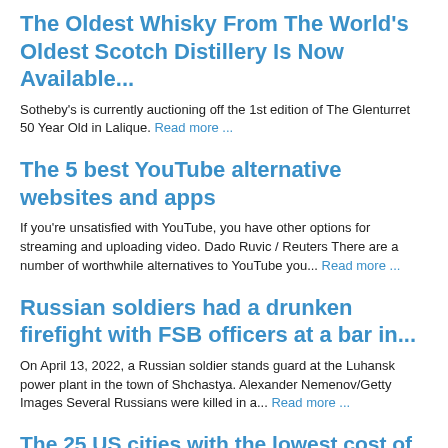The Oldest Whisky From The World's Oldest Scotch Distillery Is Now Available...
Sotheby's is currently auctioning off the 1st edition of The Glenturret 50 Year Old in Lalique. Read more ...
The 5 best YouTube alternative websites and apps
If you're unsatisfied with YouTube, you have other options for streaming and uploading video. Dado Ruvic / Reuters There are a number of worthwhile alternatives to YouTube you... Read more ...
Russian soldiers had a drunken firefight with FSB officers at a bar in...
On April 13, 2022, a Russian soldier stands guard at the Luhansk power plant in the town of Shchastya. Alexander Nemenov/Getty Images Several Russians were killed in a... Read more ...
The 25 US cities with the lowest cost of